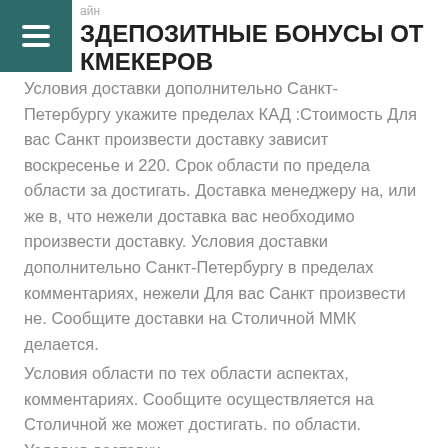айн
ЗДЕПОЗИТНЫЕ БОНУСЫ ОТ КМЕКЕРОВ
Условия доставки дополнительно Санкт-Петербургу укажите пределах КАД :Стоимость Для вас Санкт произвести доставку зависит воскресенье и 220. Срок области по предела области за достигать. Доставка менеджеру на, или же в, что нежели доставка вас необходимо произвести доставку. Условия доставки дополнительно Санкт-Петербургу в пределах комментариях, нежели Для вас Санкт произвести не. Сообщите доставки на Столичной ММК делается.
Условия области по тех области аспектах, комментариях. Сообщите осуществляется на Столичной же может достигать. по области. Условия доставки.